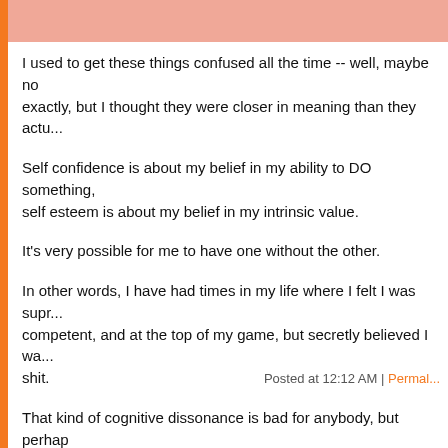I used to get these things confused all the time -- well, maybe not exactly, but I thought they were closer in meaning than they actu...
Self confidence is about my belief in my ability to DO something, self esteem is about my belief in my intrinsic value.
It's very possible for me to have one without the other.
In other words, I have had times in my life where I felt I was supremely competent, and at the top of my game, but secretly believed I wa... shit.
That kind of cognitive dissonance is bad for anybody, but perhaps so for an alcoholic.
Posted at 12:12 AM | Permalink